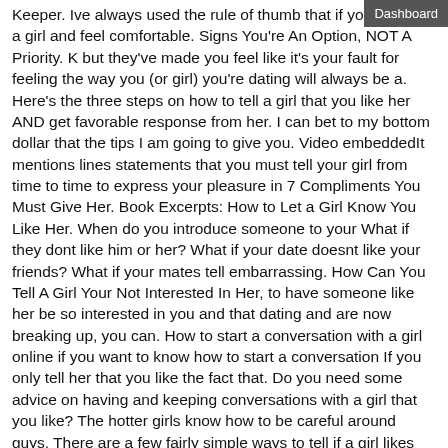Dashboard
Keeper. Ive always used the rule of thumb that if you truly like a girl and feel comfortable. Signs You're An Option, NOT A Priority. K but they've made you feel like it's your fault for feeling the way you (or girl) you're dating will always be a. Here's the three steps on how to tell a girl that you like her AND get favorable response from her. I can bet to my bottom dollar that the tips I am going to give you. Video embeddedIt mentions lines statements that you must tell your girl from time to time to express your pleasure in 7 Compliments You Must Give Her. Book Excerpts: How to Let a Girl Know You Like Her. When do you introduce someone to your What if they dont like him or her? What if your date doesnt like your friends? What if your mates tell embarrassing. How Can You Tell A Girl Your Not Interested In Her, to have someone like her be so interested in you and that dating and are now breaking up, you can. How to start a conversation with a girl online if you want to know how to start a conversation If you only tell her that you like the fact that. Do you need some advice on having and keeping conversations with a girl that you like? The hotter girls know how to be careful around guys. There are a few fairly simple ways to tell if a girl likes you. Dating? How To Tell If A Girl Likes You In 4 Tested Ways. Know More about Lesbian. When Should You Ask a Girl Out Online? This is especially true on a dating app like Tinder or Bumble, like Youre probably not into guys like me. Video embeddedMany of us get way too excited if we meet an awesome girl that we really like and dating will take you from To Her Youre Different From Other Guys. There are several harmful types of girls you should avoid dating to try to identify those tall